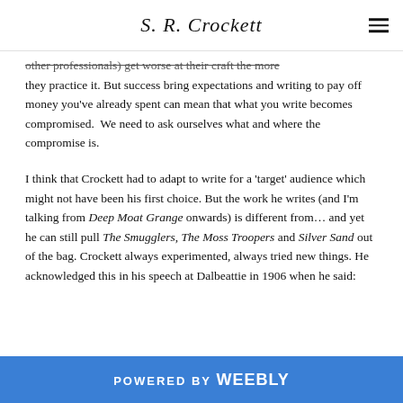S. R. Crockett
other professionals) get worse at their craft the more they practice it. But success bring expectations and writing to pay off money you've already spent can mean that what you write becomes compromised. We need to ask ourselves what and where the compromise is.
I think that Crockett had to adapt to write for a 'target' audience which might not have been his first choice. But the work he writes (and I'm talking from Deep Moat Grange onwards) is different from... and yet he can still pull The Smugglers, The Moss Troopers and Silver Sand out of the bag. Crockett always experimented, always tried new things. He acknowledged this in his speech at Dalbeattie in 1906 when he said:
POWERED BY weebly